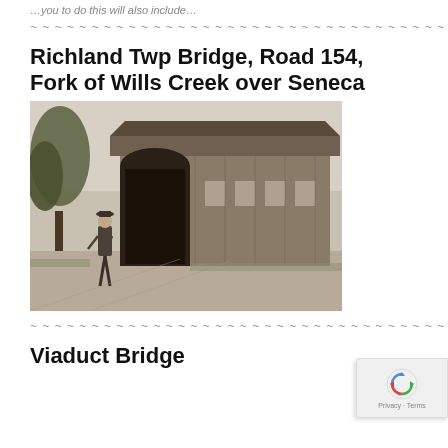…you to do this will also include…
~ ~ ~ ~ ~ ~ ~ ~ ~ ~ ~ ~ ~ ~ ~ ~ ~ ~ ~ ~ ~ ~ ~ ~ ~ ~ ~ ~ ~ ~ ~ ~ ~ ~ ~ ~ ~ ~ ~ ~ ~ ~
Richland Twp Bridge, Road 154, Fork of Wills Creek over Seneca
[Figure (photo): Black and white photograph of a covered wooden bridge. A man in a hat and suit stands in front of the bridge entrance on a dirt road. Trees are visible on the left side.]
~ ~ ~ ~ ~ ~ ~ ~ ~ ~ ~ ~ ~ ~ ~ ~ ~ ~ ~ ~ ~ ~ ~ ~ ~ ~ ~ ~ ~ ~ ~ ~ ~ ~ ~ ~ ~ ~ ~ ~ ~ ~
Viaduct Bridge